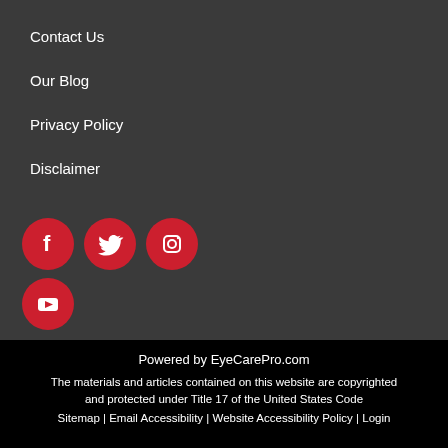Contact Us
Our Blog
Privacy Policy
Disclaimer
[Figure (illustration): Social media icons: Facebook, Twitter, Instagram, YouTube — each in a red circle]
Powered by EyeCarePro.com
The materials and articles contained on this website are copyrighted and protected under Title 17 of the United States Code
Sitemap | Email Accessibility | Website Accessibility Policy | Login